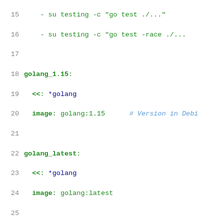[Figure (screenshot): Code snippet showing YAML CI configuration with line numbers 15-39. Contains golang_1.15, golang_latest, and integration_stable job definitions with Docker commands.]